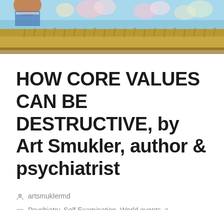[Figure (illustration): Colorful painting at top of page showing a figure with a wheat/grass field and blue sky with flowers]
HOW CORE VALUES CAN BE DESTRUCTIVE, by Art Smukler, author & psychiatrist
artsmuklermd
Psychiatry, Self Examination, World events, a psychological view
May 5, 2013   2 Minutes